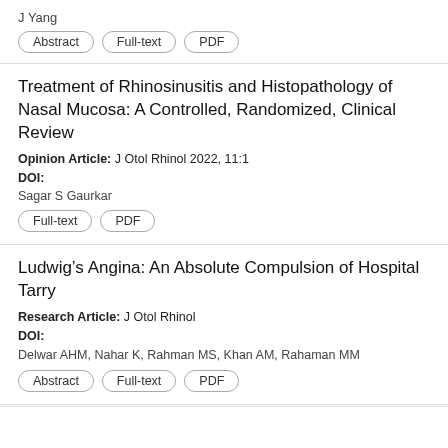J Yang
Abstract | Full-text | PDF
Treatment of Rhinosinusitis and Histopathology of Nasal Mucosa: A Controlled, Randomized, Clinical Review
Opinion Article: J Otol Rhinol 2022, 11:1
DOI:
Sagar S Gaurkar
Full-text | PDF
Ludwig’s Angina: An Absolute Compulsion of Hospital Tarry
Research Article: J Otol Rhinol
DOI:
Delwar AHM, Nahar K, Rahman MS, Khan AM, Rahaman MM
Abstract | Full-text | PDF